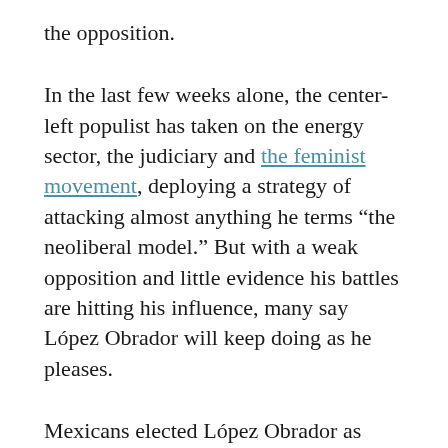the opposition.
In the last few weeks alone, the center-left populist has taken on the energy sector, the judiciary and the feminist movement, deploying a strategy of attacking almost anything he terms “the neoliberal model.” But with a weak opposition and little evidence his battles are hitting his influence, many say López Obrador will keep doing as he pleases.
Mexicans elected López Obrador as president in 2018, motivated by his anti-corruption message and promise to take on cronyism in the private sector. He swept to victory on a wave of anger unleashed by the